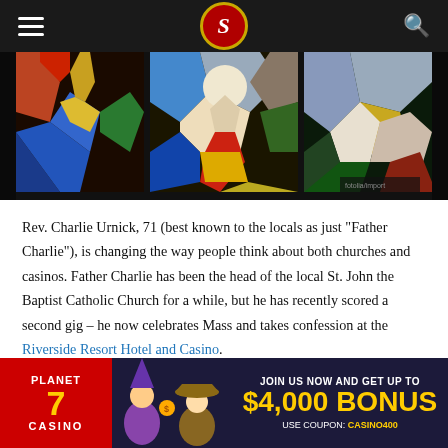Navigation header with hamburger menu, logo, and search icon
[Figure (photo): Stained glass church windows showing religious figures in colorful blues, reds, greens, and yellows against a dark background. Three panels visible.]
Rev. Charlie Urnick, 71 (best known to the locals as just “Father Charlie”), is changing the way people think about both churches and casinos. Father Charlie has been the head of the local St. John the Baptist Catholic Church for a while, but he has recently scored a second gig – he now celebrates Mass and takes confession at the Riverside Resort Hotel and Casino.
[Figure (other): Planet 7 Casino advertisement banner: JOIN US NOW AND GET UP TO $4,000 BONUS USE COUPON: CASINO400]